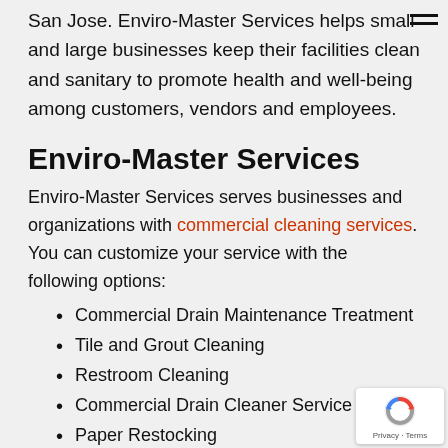San Jose. Enviro-Master Services helps small and large businesses keep their facilities clean and sanitary to promote health and well-being among customers, vendors and employees.
Enviro-Master Services
Enviro-Master Services serves businesses and organizations with commercial cleaning services. You can customize your service with the following options:
Commercial Drain Maintenance Treatment
Tile and Grout Cleaning
Restroom Cleaning
Commercial Drain Cleaner Service
Paper Restocking